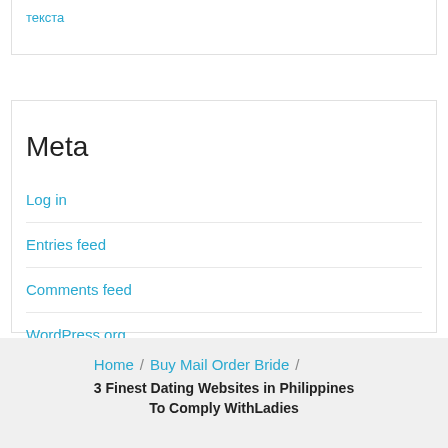текcта
Meta
Log in
Entries feed
Comments feed
WordPress.org
Home / Buy Mail Order Bride / 3 Finest Dating Websites in Philippines To Comply WithLadies